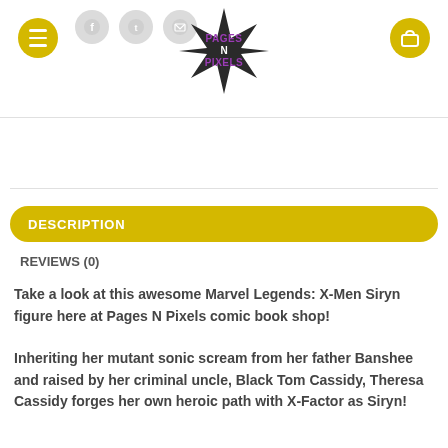Pages N Pixels — navigation header with hamburger menu, social icons (Facebook, Twitter, email), logo, and cart button
DESCRIPTION
REVIEWS (0)
Take a look at this awesome Marvel Legends: X-Men Siryn figure here at Pages N Pixels comic book shop!
Inheriting her mutant sonic scream from her father Banshee and raised by her criminal uncle, Black Tom Cassidy, Theresa Cassidy forges her own heroic path with X-Factor as Siryn!